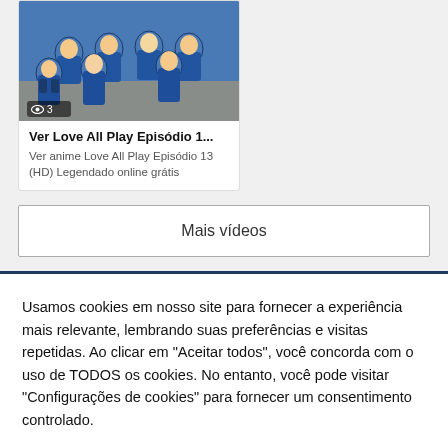[Figure (illustration): Anime group illustration showing characters in blue uniforms, with a view count badge showing eye icon and '3']
Ver Love All Play Episódio 1...
Ver anime Love All Play Episódio 13 (HD) Legendado online grátis
Mais vídeos
Usamos cookies em nosso site para fornecer a experiência mais relevante, lembrando suas preferências e visitas repetidas. Ao clicar em "Aceitar todos", você concorda com o uso de TODOS os cookies. No entanto, você pode visitar "Configurações de cookies" para fornecer um consentimento controlado.
Configurações
Aceitar Todos